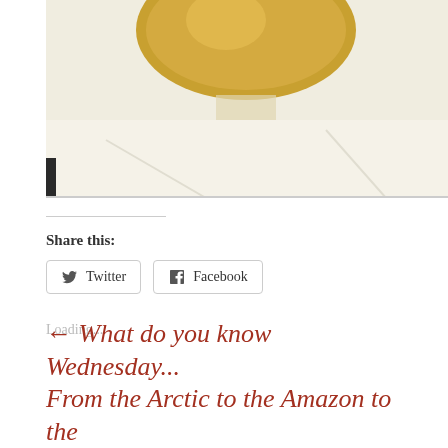[Figure (photo): Partial photo of a beer glass or similar drink in a wine glass, with white tablecloth background visible. Image is cropped showing top portion of glass and cloth.]
Share this:
Twitter  Facebook
Loading...
← What do you know Wednesday... From the Arctic to the Amazon to the